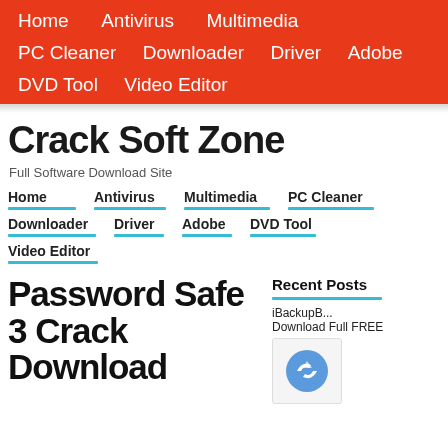Home  Antivirus  Multimedia  PC Cleaner  Downloader  Driver  Adobe  DVD Tool  Video Editor
Crack Soft Zone
Full Software Download Site
Home  Antivirus  Multimedia  PC Cleaner  Downloader  Driver  Adobe  DVD Tool  Video Editor
Password Safe 3 Crack Download Full FREE
Recent Posts
iBackupB... Download Full FREE